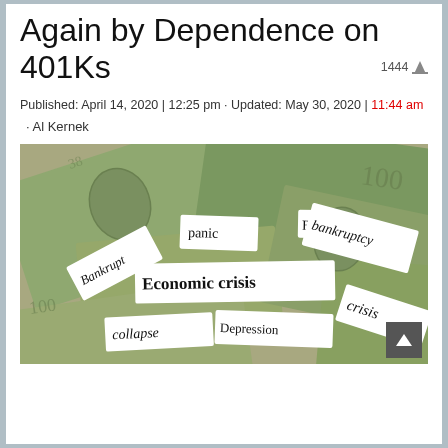Again by Dependence on 401Ks
Published: April 14, 2020 | 12:25 pm · Updated: May 30, 2020 | 11:44 am
1444
· Al Kernek
[Figure (photo): Collage of torn paper scraps over dollar bills with crisis-related words: Bankrupt, panic, bankruptcy, Economic crisis, collapse, Depression, Crisis]